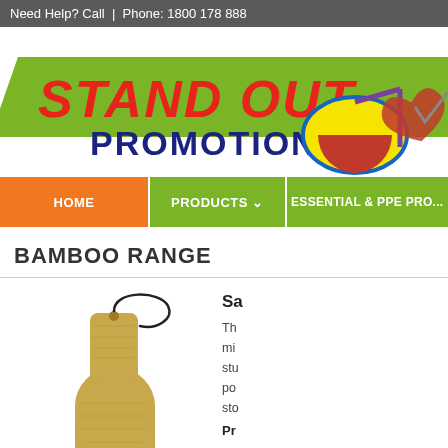Need Help? Call  |  Phone: 1800 178 888
[Figure (logo): Stand Out Promotions logo with colorful text and music note graphic]
HOME   PRODUCTS ˅   ESSENTIAL & PPE PRO...
BAMBOO RANGE
[Figure (photo): A small bamboo serving/cutting board with a rounded rectangular shape and a handle with a black leather loop cord attached at the top]
Sa

Th
mi
stu
po
sto

Pr